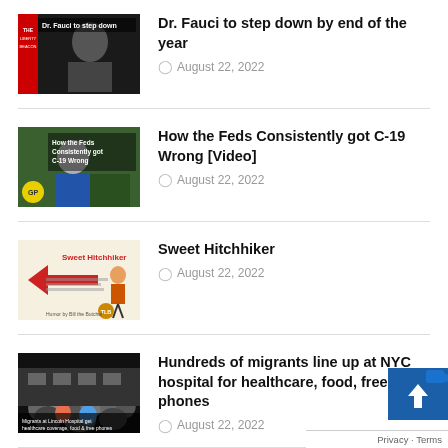[Figure (photo): Dr. Fauci waving, with overlay text 'Dr. Fauci to step down']
Dr. Fauci to step down by end of the year
August 22, 2022
[Figure (photo): Person in blue shirt outdoors; overlay text 'How the Feds Consistently got C-19 Wrong']
How the Feds Consistently got C-19 Wrong [Video]
August 22, 2022
[Figure (illustration): Sweet Hitchhiker book/article cover with cartoon figure and red text]
Sweet Hitchhiker
August 22, 2022
[Figure (photo): Crowd of migrants gathered outside NYC hospital]
Hundreds of migrants line up at NYC hospital for healthcare, food, free phones
August 22, 2022
[Figure (photo): Judge-related news image, partially visible]
Judge Permanently Blocks Biden Oil